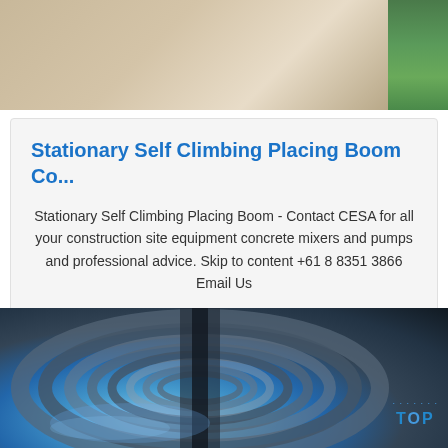[Figure (photo): Top portion of a photo showing construction/industrial equipment - partial view with beige/tan tones on the left and green on the right]
Stationary Self Climbing Placing Boom Co...
Stationary Self Climbing Placing Boom - Contact CESA for all your construction site equipment concrete mixers and pumps and professional advice. Skip to content +61 8 8351 3866 Email Us
Get Price
[Figure (photo): Bottom portion showing a coiled steel roll/strip with blue metallic sheen, with a blue TOP logo watermark in the lower right corner]